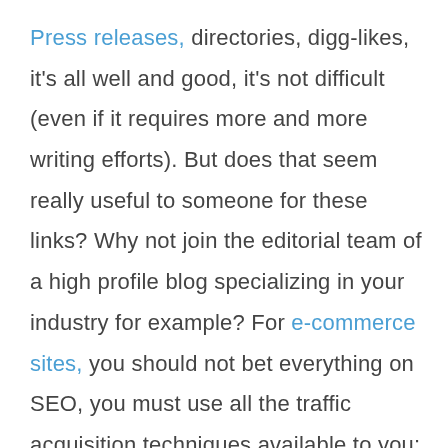Press releases, directories, digg-likes, it's all well and good, it's not difficult (even if it requires more and more writing efforts). But does that seem really useful to someone for these links? Why not join the editorial team of a high profile blog specializing in your industry for example? For e-commerce sites, you should not bet everything on SEO, you must use all the traffic acquisition techniques available to you: advertising (banners, affiliation),